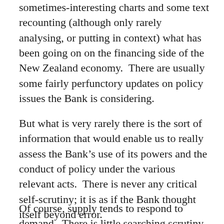sometimes-interesting charts and some text recounting (although only rarely analysing, or putting in context) what has been going on on the financing side of the New Zealand economy.   There are usually some fairly perfunctory updates on policy issues the Bank is considering.
But what is very rarely there is the sort of information that would enable us to really assess the Bank’s use of its powers and the conduct of policy under the various relevant acts.  There is never any critical self-scrutiny; it is as if the Bank thought itself beyond error.
Of course, supply tends to respond to demand.  There is little searching scrutiny of the Reserve